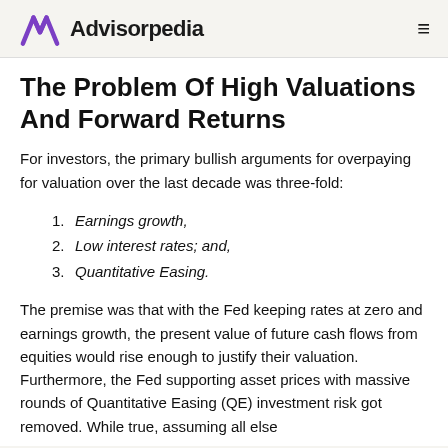Advisorpedia
The Problem Of High Valuations And Forward Returns
For investors, the primary bullish arguments for overpaying for valuation over the last decade was three-fold:
Earnings growth,
Low interest rates; and,
Quantitative Easing.
The premise was that with the Fed keeping rates at zero and earnings growth, the present value of future cash flows from equities would rise enough to justify their valuation. Furthermore, the Fed supporting asset prices with massive rounds of Quantitative Easing (QE) investment risk got removed. While true, assuming all else...